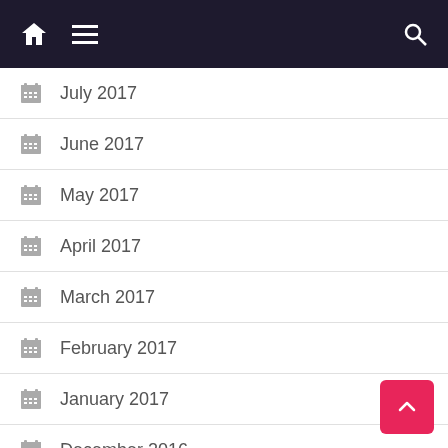Navigation bar with home icon, hamburger menu, and search icon
July 2017
June 2017
May 2017
April 2017
March 2017
February 2017
January 2017
December 2016
November 2016
October 2016
September 2016